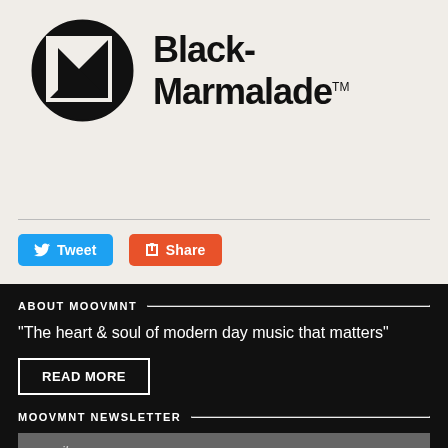[Figure (logo): Black-Marmalade logo: circle with square outline and black triangle inside, next to bold text 'Black-Marmalade' with TM symbol]
Tweet
Share
ABOUT MOOVMNT
"The heart & soul of modern day music that matters"
READ MORE
MOOVMNT NEWSLETTER
email